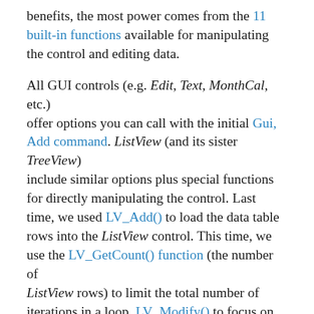benefits, the most power comes from the 11 built-in functions available for manipulating the control and editing data.
All GUI controls (e.g. Edit, Text, MonthCal, etc.) offer options you can call with the initial Gui, Add command. ListView (and its sister TreeView) include similar options plus special functions for directly manipulating the control. Last time, we used LV_Add() to load the data table rows into the ListView control. This time, we use the LV_GetCount() function (the number of ListView rows) to limit the total number of iterations in a loop, LV_Modify() to focus on each table row in sequential order, and LV_GetText() to retrieve and store data in the row. Continue reading…